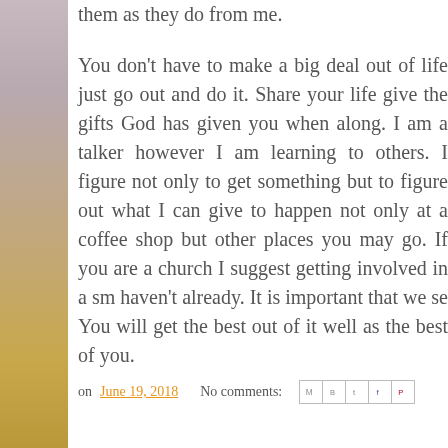them as they do from me.
You don't have to make a big deal out of life just go out and do it. Share your life give the gifts God has given you when along. I am a talker however I am learning to others. I figure not only to get something but to figure out what I can give to happen not only at a coffee shop but other places you may go. If you are a church I suggest getting involved in a small haven't already. It is important that we see You will get the best out of it well as the best of you.
on June 19, 2018   No comments: